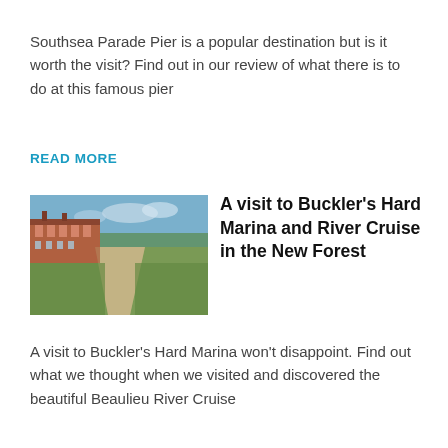Southsea Parade Pier is a popular destination but is it worth the visit? Find out in our review of what there is to do at this famous pier
READ MORE
[Figure (photo): A gravel path leading through a historic estate with red brick buildings on the left and trees in the background, likely Buckler's Hard marina area.]
A visit to Buckler’s Hard Marina and River Cruise in the New Forest
A visit to Buckler’s Hard Marina won’t disappoint. Find out what we thought when we visited and discovered the beautiful Beaulieu River Cruise